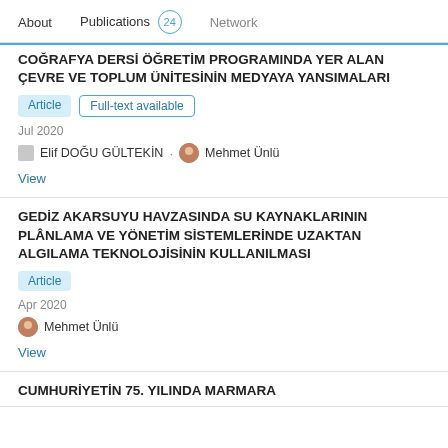About  Publications 24  Network
COĞRAFYA DERSİ ÖĞRETİM PROGRAMINDA YER ALAN ÇEVRE VE TOPLUM ÜNİTESİNİN MEDYAYA YANSIMALARI
Article  Full-text available
Jul 2020
Elif DOĞU GÜLTEKİN · Mehmet Ünlü
View
GEDİZ AKARSUYU HAVZASINDA SU KAYNAKLARININ PLÂNLAMA VE YÖNETİM SİSTEMLERİNDE UZAKTAN ALGILAMA TEKNOLOJİSİNİN KULLANILMASI
Article
Apr 2020
Mehmet Ünlü
View
CUMHURİYETİN 75. YILINDA MARMARA